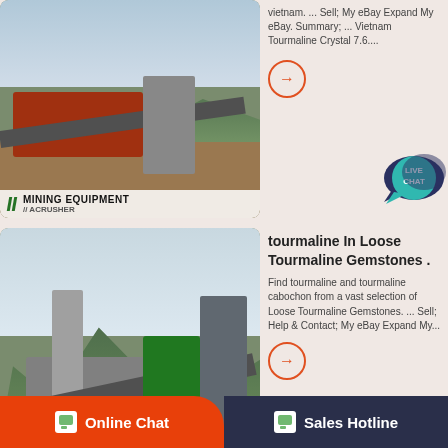[Figure (photo): Mining equipment photo with conveyor belt and machinery, branded MINING EQUIPMENT / ACRUSHER]
vietnam. ... Sell; My eBay Expand My eBay. Summary; ... Vietnam Tourmaline Crystal 7.6....
[Figure (illustration): Live Chat speech bubble icon in teal/dark blue]
[Figure (photo): Mining equipment photo with mountain background, branded MINING EQUIPMENT / ACRUSHER]
tourmaline In Loose Tourmaline Gemstones .
Find tourmaline and tourmaline cabochon from a vast selection of Loose Tourmaline Gemstones. ... Sell; Help & Contact; My eBay Expand My...
[Figure (photo): Mining equipment photo with tall tower structure and conveyor, branded MINING EQUIPMENT / ACRUSHER]
Tourmaline Buyers, Tourmaline Importers, .
Tourmaline Regular Buyers, Tourmaline Importers, Tourmaline Distributors, ... We sell the following Gem ... and Vietnam Emerald,...
Online Chat
Sales Hotline